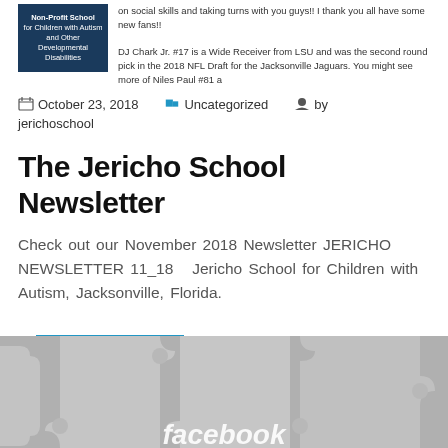[Figure (screenshot): Top banner showing school logo and text about DJ Chark Jr. #17 from LSU and Jacksonville Jaguars NFL Draft]
October 23, 2018   Uncategorized   by jerichoschool
The Jericho School Newsletter
Check out our November 2018 Newsletter JERICHO NEWSLETTER 11_18   Jericho School for Children with Autism, Jacksonville, Florida.
READ MORE
[Figure (photo): Puzzle pieces background with facebook logo text at bottom]